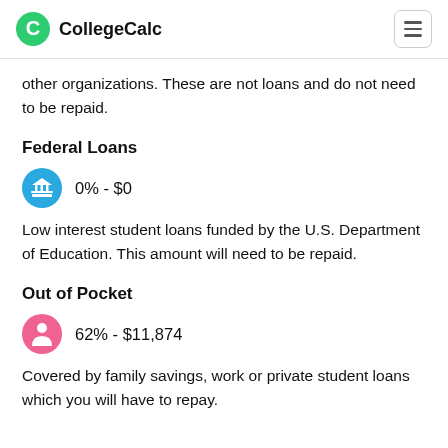CollegeCalc
other organizations. These are not loans and do not need to be repaid.
Federal Loans
0% - $0
Low interest student loans funded by the U.S. Department of Education. This amount will need to be repaid.
Out of Pocket
62% -  $11,874
Covered by family savings, work or private student loans which you will have to repay.